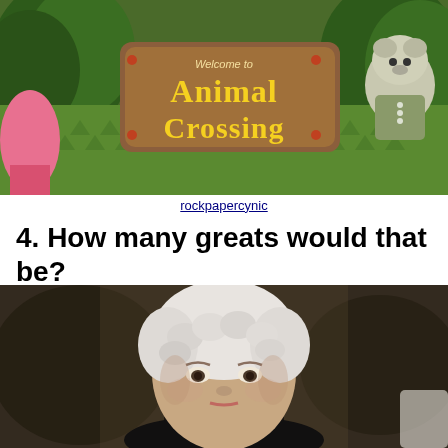[Figure (photo): Animal Crossing themed cushion/pillow showing the 'Welcome to Animal Crossing' logo with green tree and character designs, alongside an Animal Crossing plush toy character]
rockpapercynic
4. How many greats would that be?
[Figure (photo): Elderly woman with white curly hair wearing a dark outfit, photographed indoors with a blurred background]